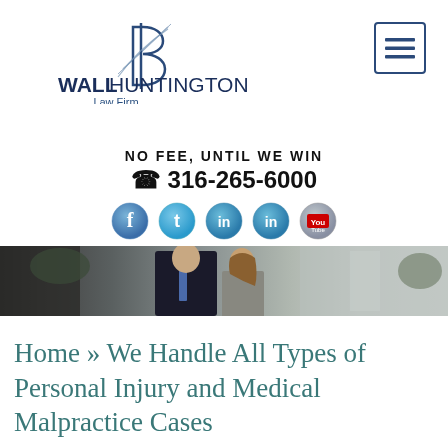[Figure (logo): Wall Huntington Law Firm logo with stylized B/dollar sign graphic above text 'WALLHUNTINGTON Law Firm']
[Figure (other): Hamburger menu button (three horizontal lines) in a square border, top right corner]
NO FEE, UNTIL WE WIN
☎ 316-265-6000
[Figure (other): Row of 5 social media icon buttons: Facebook (f), Twitter (bird), LinkedIn (in), LinkedIn (in), YouTube (You Tube)]
[Figure (photo): Professional photo of two people (man in dark suit with blue tie, woman with long hair smiling) in an office/building entrance setting]
Home » We Handle All Types of Personal Injury and Medical Malpractice Cases